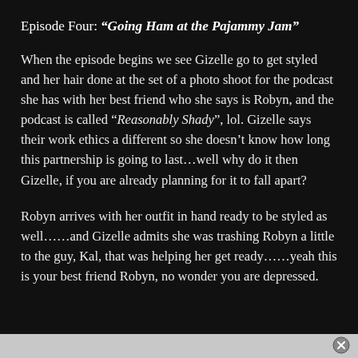Episode Four: "Going Ham at the Pajammy Jam"
When the episode begins we see Gizelle go to get styled and her hair done at the set of a photo shoot for the podcast she has with her best friend who she says is Robyn, and the podcast is called “Reasonably Shady”, lol. Gizelle says their work ethics a different so she doesn’t know how long this partnership is going to last…well why do it then Gizelle, if you are already planning for it to fall apart?
Robyn arrives with her outfit in hand ready to be styled as well……and Gizelle admits she was trashing Robyn a little to the guy, Kal, that was helping her get ready……yeah this is your best friend Robyn, no wonder you are depressed.